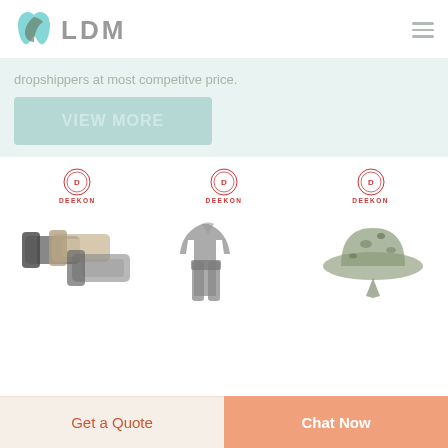[Figure (logo): LDM logo with teal leaf/tooth icon and grey LDM text]
dropshippers at most competitve price.
[Figure (illustration): Button: View More]
[Figure (photo): Three product images with DEEKON badges: military belts, combat uniform, camouflage hat]
Get a Quote
Chat Now